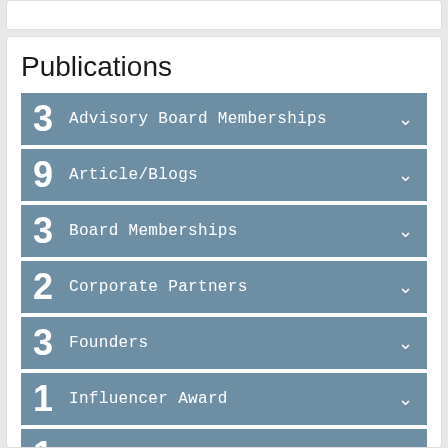Publications
3 Advisory Board Memberships
9 Article/Blogs
3 Board Memberships
2 Corporate Partners
3 Founders
1 Influencer Award
1 Keynote
14 Media Interviews